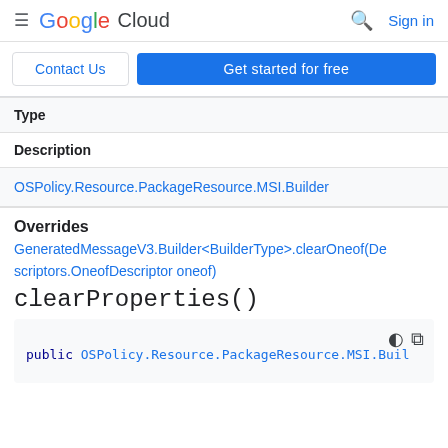Google Cloud  Sign in
Contact Us | Get started for free
| Type |
| --- |
| Description |
| --- |
| OSPolicy.Resource.PackageResource.MSI.Builder |
Overrides
GeneratedMessageV3.Builder<BuilderType>.clearOneof(Descriptors.OneofDescriptor oneof)
clearProperties()
public OSPolicy.Resource.PackageResource.MSI.Buil